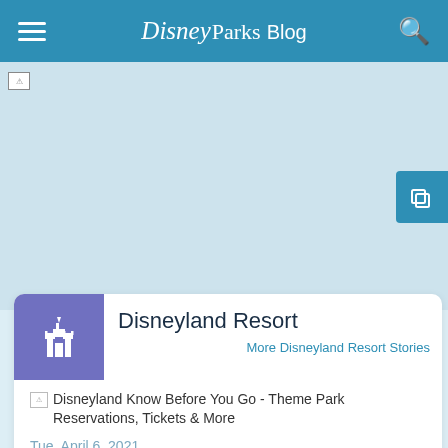Disney Parks Blog
[Figure (photo): Hero image area - light blue placeholder, image failed to load]
Disneyland Resort
More Disneyland Resort Stories
[Figure (photo): Disneyland Know Before You Go - Theme Park Reservations, Tickets & More (broken image)]
Disneyland Know Before You Go - Theme Park Reservations, Tickets & More
Tue, April 6, 2021
Here's What You Need to Know